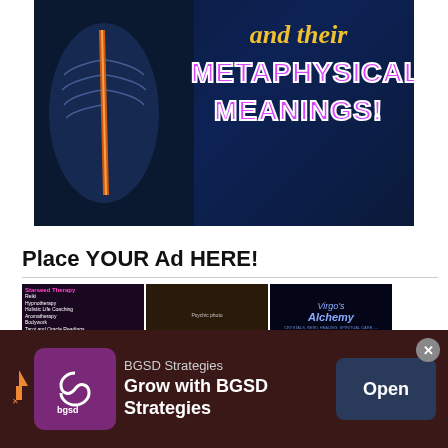[Figure (illustration): Dark blue background with a spine/skeleton X-ray image on the left, and bold stylized text on the right reading 'and their METAPHYSICAL MEANINGS!' with yellow and purple/pink colors]
Place YOUR Ad HERE!
[Figure (infographic): A grid of 6 small advertisement images including Starseed Therapy, a psychic lady photo, Virgo's Alchemy logo, a crystal healing ad, Psychic Evening at The Bell Inn Tuesday 2nd August 2022, and a colorful eye/face image]
Advertise your services, website, social media page, event, business, products
Take a Mini Mental
[Figure (infographic): Bottom advertisement bar for BGSD Strategies with dark red/maroon background, BGSD logo, text 'BGSD Strategies Grow with BGSD Strategies' and an Open button]